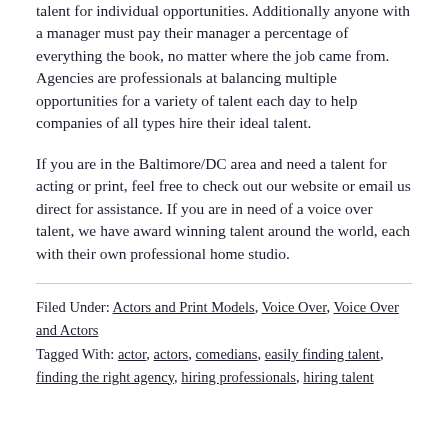talent for individual opportunities. Additionally anyone with a manager must pay their manager a percentage of everything the book, no matter where the job came from. Agencies are professionals at balancing multiple opportunities for a variety of talent each day to help companies of all types hire their ideal talent.
If you are in the Baltimore/DC area and need a talent for acting or print, feel free to check out our website or email us direct for assistance. If you are in need of a voice over talent, we have award winning talent around the world, each with their own professional home studio.
Filed Under: Actors and Print Models, Voice Over, Voice Over and Actors
Tagged With: actor, actors, comedians, easily finding talent, finding the right agency, hiring professionals, hiring talent